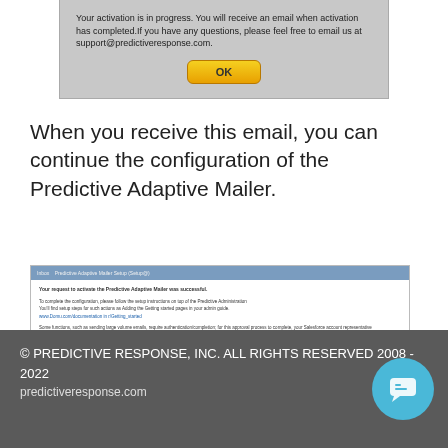[Figure (screenshot): Dialog box showing activation in progress message with OK button on gray background]
When you receive this email, you can continue the configuration of the Predictive Adaptive Mailer.
[Figure (screenshot): Screenshot of an email from Predictive Adaptive Mailer Setup showing activation success message with organization, user, and account number fields]
[Figure (other): Thumbs up (0) and thumbs down (0) rating buttons]
© PREDICTIVE RESPONSE, INC. ALL RIGHTS RESERVED 2008 - 2022
predictiveresponse.com